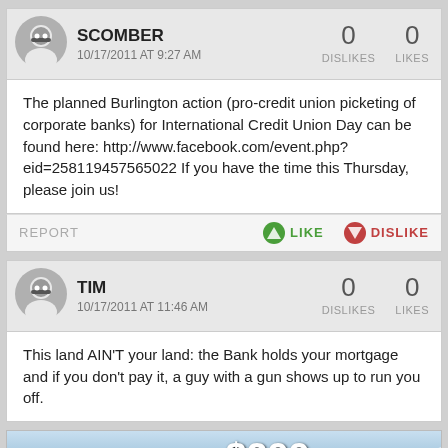SCOMBER
10/17/2011 AT 9:27 AM
0 DISLIKES  0 LIKES
The planned Burlington action (pro-credit union picketing of corporate banks) for International Credit Union Day can be found here: http://www.facebook.com/event.php?eid=258119457565022 If you have the time this Thursday, please join us!
TIM
10/17/2011 AT 11:46 AM
0 DISLIKES  0 LIKES
This land AIN'T your land: the Bank holds your mortgage and if you don't pay it, a guy with a gun shows up to run you off.
[Figure (illustration): Advertisement for Smugglers' Notch Vermont ski resort. Season Passes starting at $299. Purchase by Labor Day and SAVE! Shows skier on snowy slope with mountain logo.]